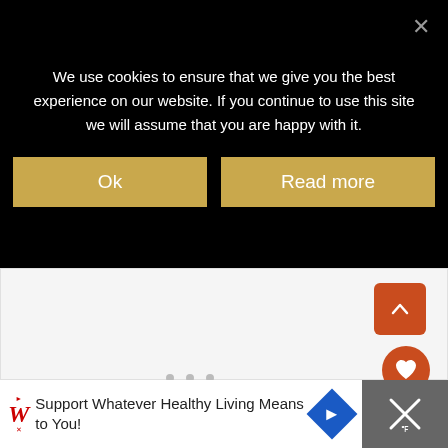We use cookies to ensure that we give you the best experience on our website. If you continue to use this site we will assume that you are happy with it.
[Figure (screenshot): Cookie consent banner with two buttons: 'Ok' and 'Read more' on a black background, with an X close button.]
[Figure (screenshot): Website content area (light gray), scroll-to-top button (orange square with up caret), heart/favorite button (orange circle), share button (white circle), 'WHAT'S NEXT' panel showing Brickosaurs at Marwell Zoo teaser, and an advertisement bar at bottom for Walgreens 'Support Whatever Healthy Living Means to You!']